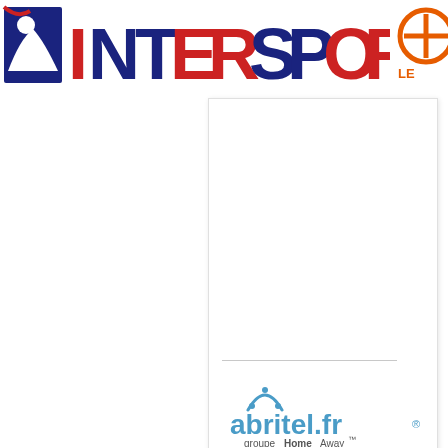[Figure (logo): INTERSPORT logo with blue icon on left and red text, with a partially visible second logo in top right corner]
[Figure (logo): abritel.fr groupe HomeAway logo with arched roof icon above the text, and 'Book by HomeAway' button below]